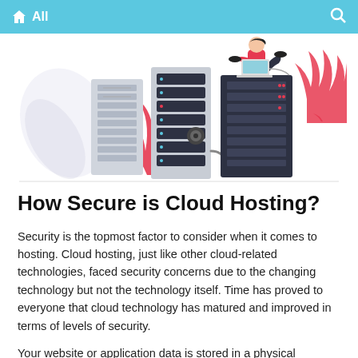All
[Figure (illustration): Illustration of server racks and data center equipment with a person sitting on top of a server stack using a laptop, flanked by decorative red plant leaves and gray leaf shapes on a white background.]
How Secure is Cloud Hosting?
Security is the topmost factor to consider when it comes to hosting. Cloud hosting, just like other cloud-related technologies, faced security concerns due to the changing technology but not the technology itself. Time has proved to everyone that cloud technology has matured and improved in terms of levels of security.
Your website or application data is stored in a physical